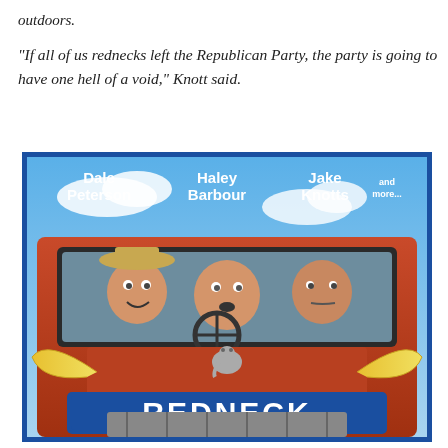outdoors.
“If all of us rednecks left the Republican Party, the party is going to have one hell of a void,” Knott said.
[Figure (photo): Movie poster parody image showing three men (Dale Peterson, Haley Barbour, Jake Knotts) in an old orange truck cab with longhorns, titled 'REDNECK', with blue border.]